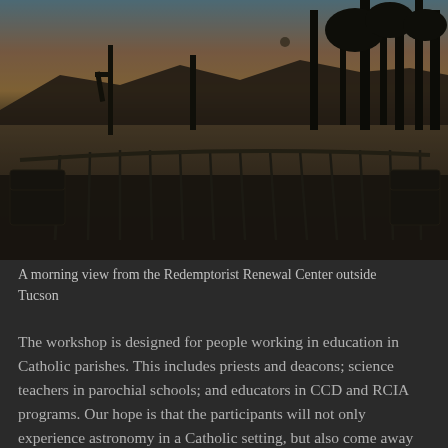[Figure (photo): A morning view from the Redemptorist Renewal Center outside Tucson. Desert landscape at dawn with silhouettes of saguaro cacti, mountains in the background, an orange-pink sky, and a patio with metal railing and chairs in the foreground.]
A morning view from the Redemptorist Renewal Center outside Tucson
The workshop is designed for people working in education in Catholic parishes. This includes priests and deacons; science teachers in parochial schools; and educators in CCD and RCIA programs. Our hope is that the participants will not only experience astronomy in a Catholic setting, but also come away